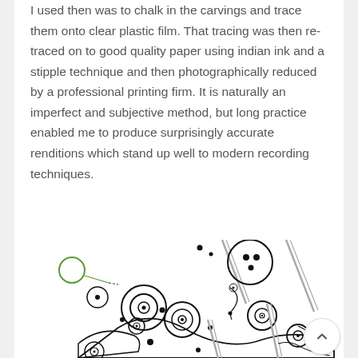I used then was to chalk in the carvings and trace them onto clear plastic film. That tracing was then re-traced on to good quality paper using indian ink and a stipple technique and then photographically reduced by a professional printing firm. It is naturally an imperfect and subjective method, but long practice enabled me to produce surprisingly accurate renditions which stand up well to modern recording techniques.
[Figure (illustration): Rock art or petroglyph illustration showing various carved circular motifs including concentric circles, cup marks, and dotted rings on a rock surface, with diagonal hatched lines representing the rock edges. A small green circle with a line (scale bar indicator) is visible in the upper left of the illustration.]